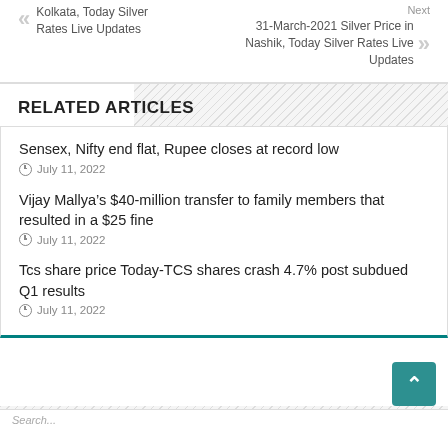Kolkata, Today Silver Rates Live Updates
Next
31-March-2021 Silver Price in Nashik, Today Silver Rates Live Updates
RELATED ARTICLES
Sensex, Nifty end flat, Rupee closes at record low
July 11, 2022
Vijay Mallya’s $40-million transfer to family members that resulted in a $25 fine
July 11, 2022
Tcs share price Today-TCS shares crash 4.7% post subdued Q1 results
July 11, 2022